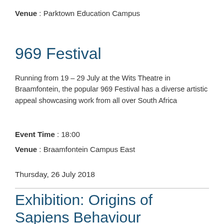Venue : Parktown Education Campus
969 Festival
Running from 19 – 29 July at the Wits Theatre in Braamfontein, the popular 969 Festival has a diverse artistic appeal showcasing work from all over South Africa
Event Time : 18:00
Venue : Braamfontein Campus East
Thursday, 26 July 2018
Exhibition: Origins of Sapiens Behaviour